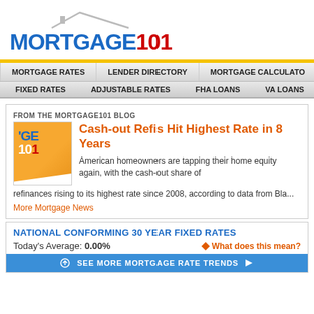[Figure (logo): Mortgage101 logo with house roofline above the text, MORTGAGE in blue and 101 in red]
MORTGAGE RATES | LENDER DIRECTORY | MORTGAGE CALCULATOR
FIXED RATES | ADJUSTABLE RATES | FHA LOANS | VA LOANS
FROM THE MORTGAGE101 BLOG
Cash-out Refis Hit Highest Rate in 8 Years
American homeowners are tapping their home equity again, with the cash-out share of refinances rising to its highest rate since 2008, according to data from Bla...
More Mortgage News
NATIONAL CONFORMING 30 YEAR FIXED RATES
Today's Average: 0.00%
What does this mean?
SEE MORE MORTGAGE RATE TRENDS